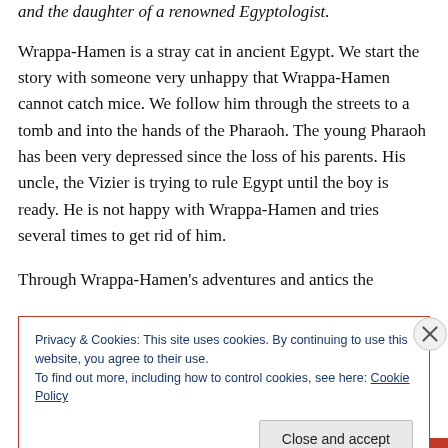and the daughter of a renowned Egyptologist.
Wrappa-Hamen is a stray cat in ancient Egypt. We start the story with someone very unhappy that Wrappa-Hamen cannot catch mice. We follow him through the streets to a tomb and into the hands of the Pharaoh. The young Pharaoh has been very depressed since the loss of his parents. His uncle, the Vizier is trying to rule Egypt until the boy is ready. He is not happy with Wrappa-Hamen and tries several times to get rid of him.
Through Wrappa-Hamen's adventures and antics the
Privacy & Cookies: This site uses cookies. By continuing to use this website, you agree to their use.
To find out more, including how to control cookies, see here: Cookie Policy
Close and accept